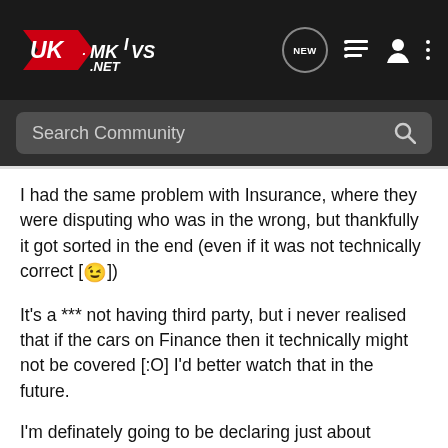UK-MKVS.NET [navigation bar with NEW, list, user, and more icons]
Search Community
I had the same problem with Insurance, where they were disputing who was in the wrong, but thankfully it got sorted in the end (even if it was not technically correct [😉])
It's a *** not having third party, but i never realised that if the cars on Finance then it technically might not be covered [:O] I'd better watch that in the future.
I'm definately going to be declaring just about everything, because as you said Donna, it's sod law.
So is that £780 protected?
That's a pretty damn good quote. I just hope mines isn't